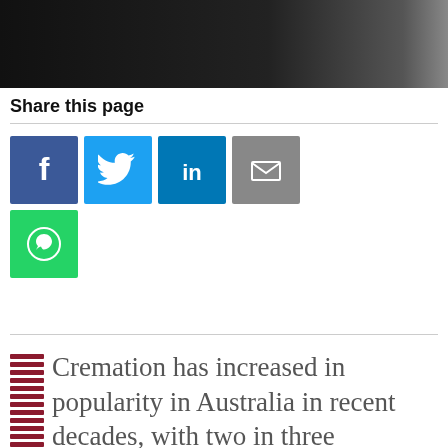[Figure (photo): Dark photo strip at the top of the page, showing a dimly lit scene with a bright highlight on the right side]
Share this page
[Figure (infographic): Row of social media share icons: Facebook (blue), Twitter (light blue), LinkedIn (dark blue), Email (grey), WhatsApp (green)]
Cremation has increased in popularity in Australia in recent decades, with two in three Australians now saying they would opt for it, according to research by national social researchers McCrindle. Unlike traditional burial, cremation offers a